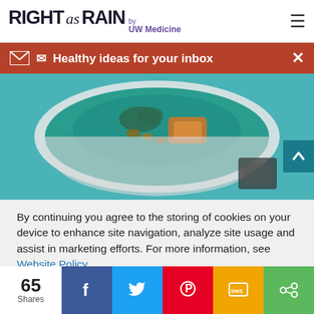RIGHT as RAIN by UW Medicine
Healthy ideas for your inbox
[Figure (photo): Overhead view of a bowl of teal/turquoise soup or smoothie bowl with food toppings, shot from above on a light surface]
By continuing you agree to the storing of cookies on your device to enhance site navigation, analyze site usage and assist in marketing efforts. For more information, see Website Policy
ACCEPT
65 Shares